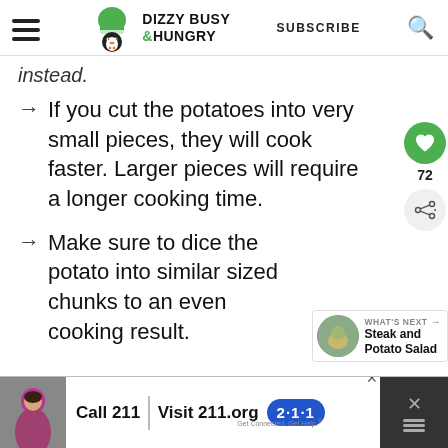Dizzy Busy & Hungry — SUBSCRIBE
instead.
→ If you cut the potatoes into very small pieces, they will cook faster. Larger pieces will require a longer cooking time.
→ Make sure to dice the potato into similar sized chunks to an even cooking result.
[Figure (other): Advertisement bar: Call 211 | Visit 211.org with 2-1-1 badge logo]